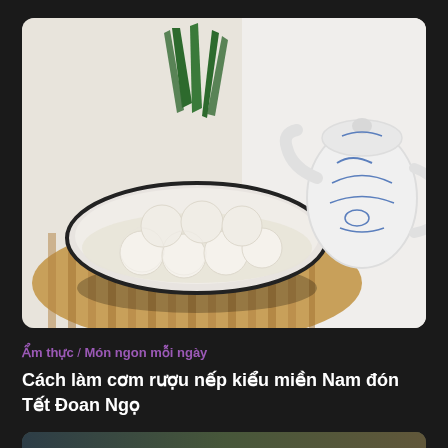[Figure (photo): A bowl of Vietnamese sticky rice wine balls (cơm rượu nếp) garnished with pandan leaves, placed on a bamboo mat beside a blue-and-white ceramic teapot. White background.]
Ẩm thực / Món ngon mỗi ngày
Cách làm cơm rượu nếp kiểu miền Nam đón Tết Đoan Ngọ
[Figure (photo): Partially visible image at bottom of page (cropped)]